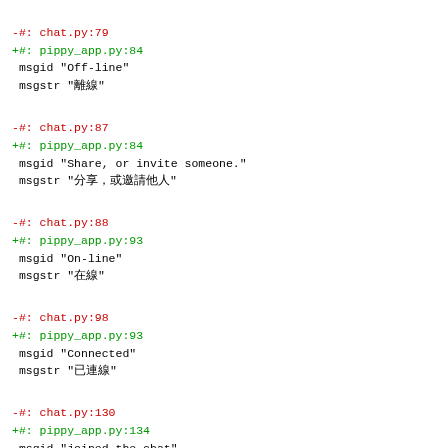-#: chat.py:79
+#: pippy_app.py:84
 msgid "Off-line"
 msgstr "離線"
-#: chat.py:87
+#: pippy_app.py:84
 msgid "Share, or invite someone."
 msgstr "分享，或邀請他人"
-#: chat.py:88
+#: pippy_app.py:93
 msgid "On-line"
 msgstr "在線"
-#: chat.py:98
+#: pippy_app.py:93
 msgid "Connected"
 msgstr "已連線"
-#: chat.py:130
+#: pippy_app.py:134
 msgid "joined the chat"
 msgstr "加入了聊天"
-#: chat.py:142
+#: pippy_app.py:145
 msgid "left the chat"
 msgstr "離開了"